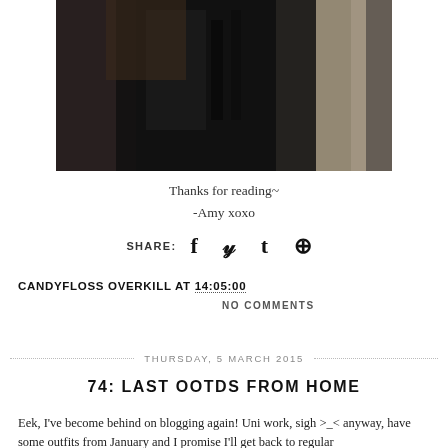[Figure (photo): A photo of a person wearing dark clothing, taken in a dark indoor setting, selfie-style.]
Thanks for reading~
-Amy xoxo
SHARE: f t t p
CANDYFLOSS OVERKILL AT 14:05:00
NO COMMENTS
THURSDAY, 5 MARCH 2015
74: LAST OOTDS FROM HOME
Eek, I've become behind on blogging again! Uni work, sigh >_< anyway, have some outfits from January and I promise I'll get back to regular